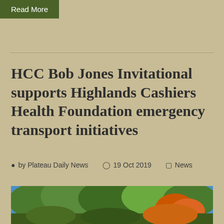Read More
HCC Bob Jones Invitational supports Highlands Cashiers Health Foundation emergency transport initiatives
by Plateau Daily News  19 Oct 2019  News
[Figure (photo): Autumn trees with fall foliage colors of green, orange, and red against a blue sky]